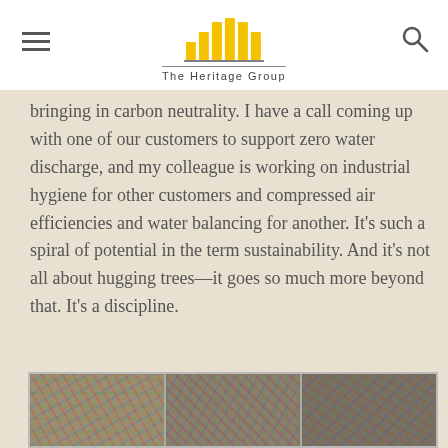The Heritage Group
bringing in carbon neutrality. I have a call coming up with one of our customers to support zero water discharge, and my colleague is working on industrial hygiene for other customers and compressed air efficiencies and water balancing for another. It’s such a spiral of potential in the term sustainability. And it’s not all about hugging trees—it goes so much more beyond that. It’s a discipline.
[Figure (photo): Three panel photo strip showing colorful compressed/recycled material, likely baled waste or industrial material, viewed close-up.]